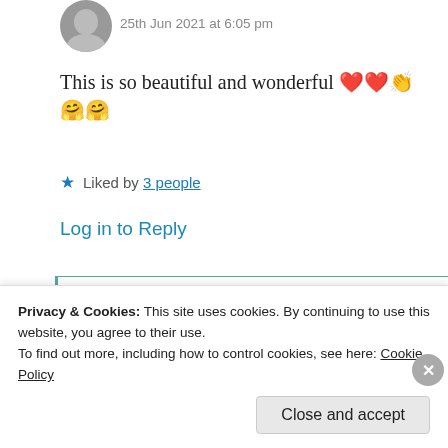25th Jun 2021 at 6:05 pm
This is so beautiful and wonderful ❤️❤️👏🤗🤗
★ Liked by 3 people
Log in to Reply
Suma Reddy
25th Jun 2021 at 6:45 pm
Privacy & Cookies: This site uses cookies. By continuing to use this website, you agree to their use.
To find out more, including how to control cookies, see here: Cookie Policy
Close and accept